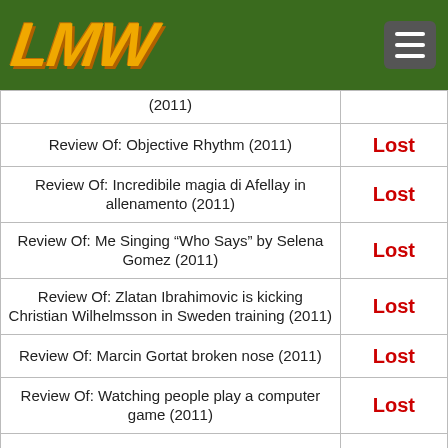LMW logo and navigation menu
| Title | Status |
| --- | --- |
| (2011) |  |
| Review Of: Objective Rhythm (2011) | Lost |
| Review Of: Incredibile magia di Afellay in allenamento (2011) | Lost |
| Review Of: Me Singing “Who Says” by Selena Gomez (2011) | Lost |
| Review Of: Zlatan Ibrahimovic is kicking Christian Wilhelmsson in Sweden training (2011) | Lost |
| Review Of: Marcin Gortat broken nose (2011) | Lost |
| Review Of: Watching people play a computer game (2011) | Lost |
| LOOKING (2011) | Lost |